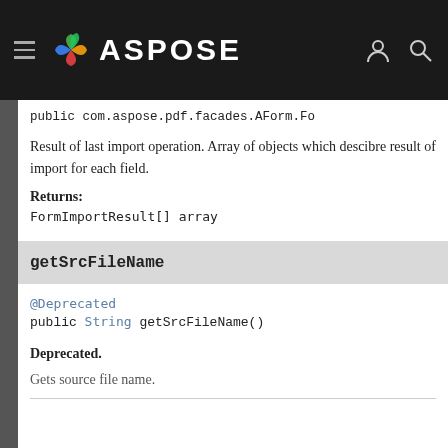[Figure (logo): Aspose logo with swirl icon and white ASPOSE text on dark navbar, with hamburger menu, user and search icons]
public com.aspose.pdf.facades.AForm.Fo
Result of last import operation. Array of objects which descibre result of import for each field.
Returns:
FormImportResult[] array
getSrcFileName
@Deprecated
public String getSrcFileName()
Deprecated.
Gets source file name.